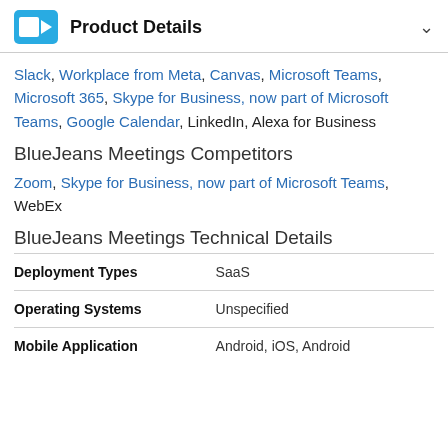Product Details
Slack, Workplace from Meta, Canvas, Microsoft Teams, Microsoft 365, Skype for Business, now part of Microsoft Teams, Google Calendar, LinkedIn, Alexa for Business
BlueJeans Meetings Competitors
Zoom, Skype for Business, now part of Microsoft Teams, WebEx
BlueJeans Meetings Technical Details
|  |  |
| --- | --- |
| Deployment Types | SaaS |
| Operating Systems | Unspecified |
| Mobile Application | Android, iOS, Android |